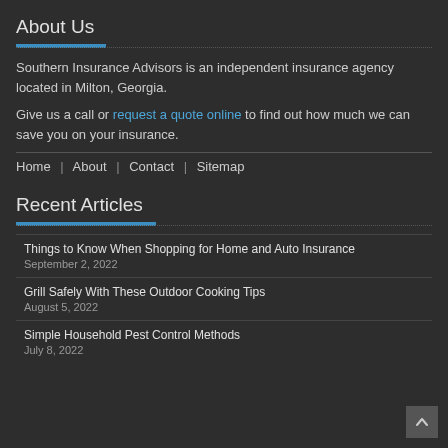About Us
Southern Insurance Advisors is an independent insurance agency located in Milton, Georgia.
Give us a call or request a quote online to find out how much we can save you on your insurance.
Home | About | Contact | Sitemap
Recent Articles
Things to Know When Shopping for Home and Auto Insurance
September 2, 2022
Grill Safely With These Outdoor Cooking Tips
August 5, 2022
Simple Household Pest Control Methods
July 8, 2022